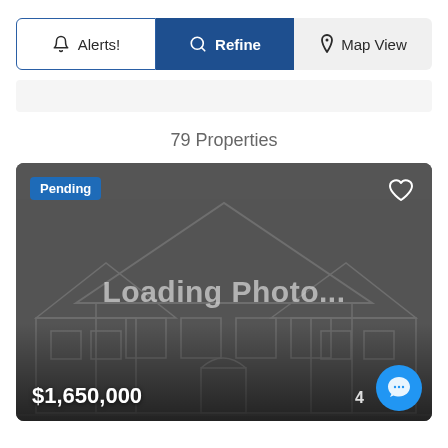[Figure (screenshot): Navigation button bar with three buttons: Alerts!, Refine (active/blue), and Map View]
[Figure (other): Empty filter/search bar placeholder with light gray background]
79 Properties
[Figure (photo): Real estate listing card showing a loading photo placeholder with a house outline silhouette. Includes a Pending badge, heart/favorite icon, price of $1,650,000, listing number 4, and a chat button.]